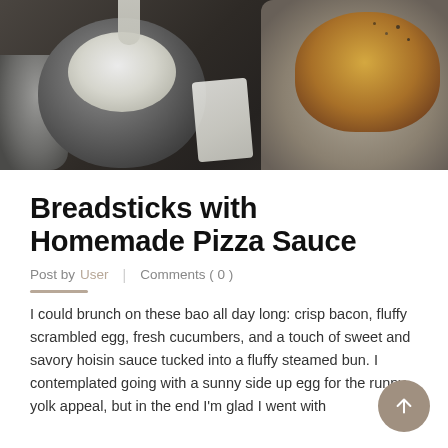[Figure (photo): Photo of a dark ceramic bowl with white creamy dipping sauce and a dripping spoon, alongside a bowl with golden breadsticks, on a dark stone surface.]
Breadsticks with Homemade Pizza Sauce
Post by User  |  Comments ( 0 )
I could brunch on these bao all day long: crisp bacon, fluffy scrambled egg, fresh cucumbers, and a touch of sweet and savory hoisin sauce tucked into a fluffy steamed bun. I contemplated going with a sunny side up egg for the runny yolk appeal, but in the end I'm glad I went with [...]